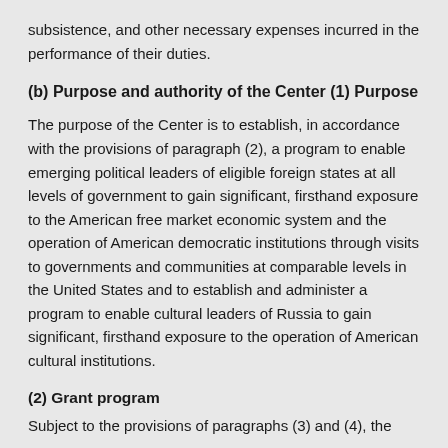subsistence, and other necessary expenses incurred in the performance of their duties.
(b) Purpose and authority of the Center (1) Purpose
The purpose of the Center is to establish, in accordance with the provisions of paragraph (2), a program to enable emerging political leaders of eligible foreign states at all levels of government to gain significant, firsthand exposure to the American free market economic system and the operation of American democratic institutions through visits to governments and communities at comparable levels in the United States and to establish and administer a program to enable cultural leaders of Russia to gain significant, firsthand exposure to the operation of American cultural institutions.
(2) Grant program
Subject to the provisions of paragraphs (3) and (4), the